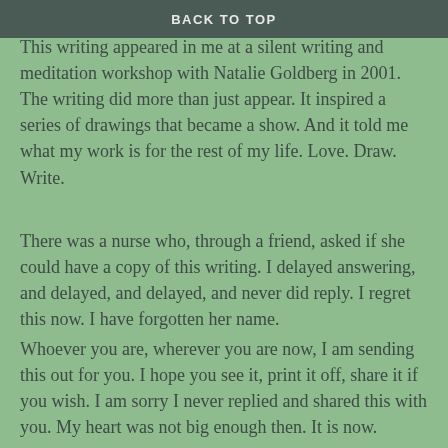BACK TO TOP
today's blog post.  I am posting an old piece of writing.  This writing appeared in me at a silent writing and meditation workshop with Natalie Goldberg in 2001.  The writing did more than just appear.  It inspired a series of drawings that became a show.  And it told me what my work is for the rest of my life.  Love.  Draw.  Write.
There was a nurse who, through a friend, asked if she could have a copy of this writing.  I delayed answering, and delayed, and delayed, and never did reply.  I regret this now.  I have forgotten her name.
Whoever you are, wherever you are now, I am sending this out for you.  I hope you see it, print it off, share it if you wish.  I am sorry I never replied and shared this with you.  My heart was not big enough then.  It is now.